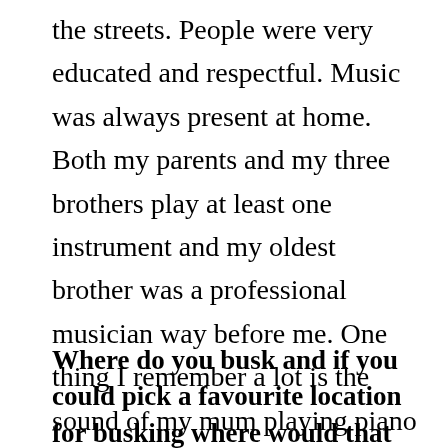the streets. People were very educated and respectful. Music was always present at home. Both my parents and my three brothers play at least one instrument and my oldest brother was a professional musician way before me. One thing I remember a lot is the sound of my mum playing piano at home during my childhood.
Where do you busk and if you could pick a favourite location for busking where would that be?